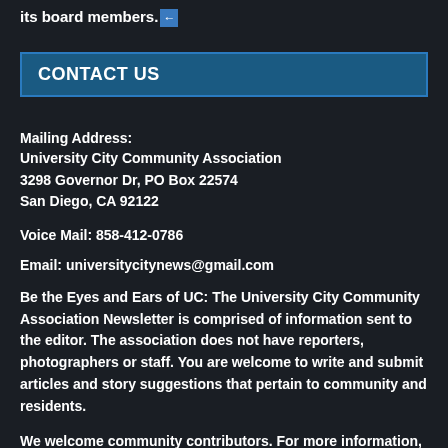its board members. ←
CONTACT US
Mailing Address:
University City Community Association
3298 Governor Dr, PO Box 22574
San Diego, CA 92122
Voice Mail: 858-412-0786
Email: universitycitynews@gmail.com
Be the Eyes and Ears of UC: The University City Community Association Newsletter is comprised of information sent to the editor. The association does not have reporters, photographers or staff. You are welcome to write and submit articles and story suggestions that pertain to community and residents.
We welcome community contributors. For more information, visit https://www.universitycitynews.org/ucca-